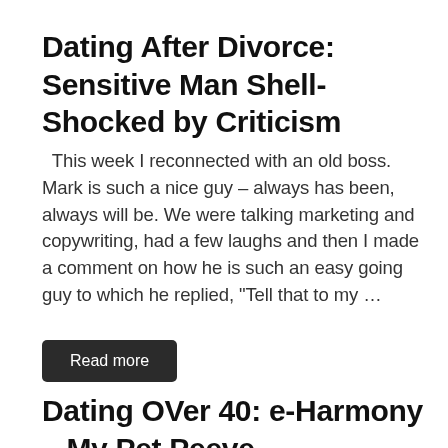Dating After Divorce: Sensitive Man Shell-Shocked by Criticism
This week I reconnected with an old boss. Mark is such a nice guy – always has been, always will be. We were talking marketing and copywriting, had a few laughs and then I made a comment on how he is such an easy going guy to which he replied, "Tell that to my …
Read more
Dating OVer 40: e-Harmony – My Pet Peeve